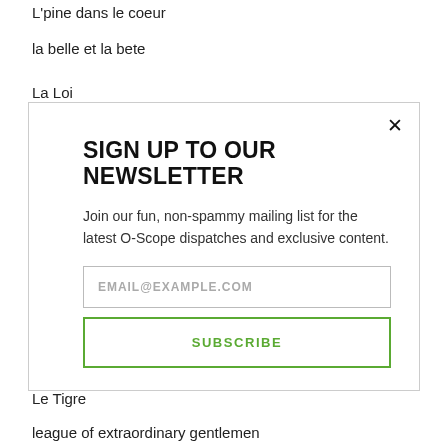L'pine dans le coeur
la belle et la bete
La Loi
lady gaga
[Figure (screenshot): Newsletter signup modal popup with title 'SIGN UP TO OUR NEWSLETTER', body text, email input field, and subscribe button]
Le Tigre
league of extraordinary gentlemen